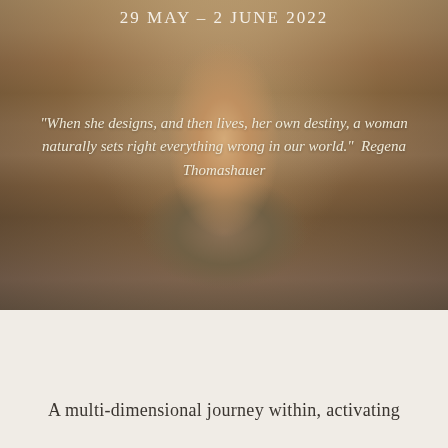29 MAY – 2 JUNE 2022
[Figure (photo): Close-up photo of a person's torso and hands clasped behind their back, holding a small green sprig, against a soft warm background.]
“When she designs, and then lives, her own destiny, a woman naturally sets right everything wrong in our world.”  Regena Thomashauer
A multi-dimensional journey within, activating